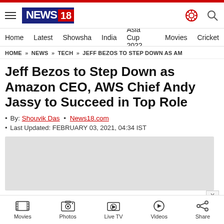NEWS18 - news website header with hamburger menu, logo, settings and search icons
Home | Latest | Showsha | India | Asia Cup 2022 | Movies | Cricket
HOME » NEWS » TECH » JEFF BEZOS TO STEP DOWN AS AM
Jeff Bezos to Step Down as Amazon CEO, AWS Chief Andy Jassy to Succeed in Top Role
By: Shouvik Das • News18.com
Last Updated: FEBRUARY 03, 2021, 04:34 IST
[Figure (other): Advertisement placeholder gray box with X close button]
Movies | Photos | Live TV | Videos | Share